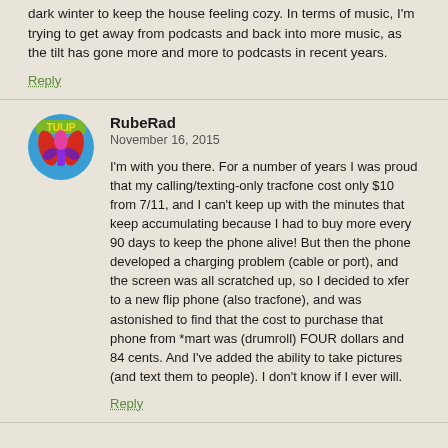dark winter to keep the house feeling cozy. In terms of music, I'm trying to get away from podcasts and back into more music, as the tilt has gone more and more to podcasts in recent years.
Reply
[Figure (illustration): Circular avatar with colorful tulip logo on blue background with red and purple design]
RubeRad
November 16, 2015
I'm with you there. For a number of years I was proud that my calling/texting-only tracfone cost only $10 from 7/11, and I can't keep up with the minutes that keep accumulating because I had to buy more every 90 days to keep the phone alive! But then the phone developed a charging problem (cable or port), and the screen was all scratched up, so I decided to xfer to a new flip phone (also tracfone), and was astonished to find that the cost to purchase that phone from *mart was (drumroll) FOUR dollars and 84 cents. And I've added the ability to take pictures (and text them to people). I don't know if I ever will.
Reply